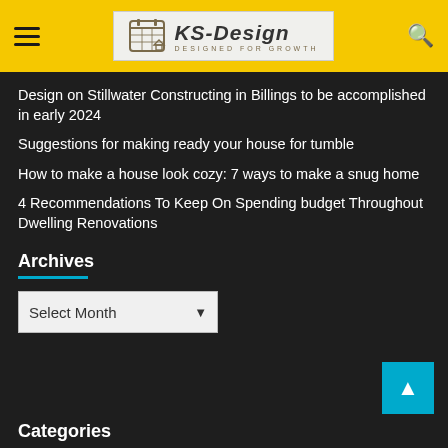KS-Design — Designed for Growth
Design on Stillwater Constructing in Billings to be accomplished in early 2024
Suggestions for making ready your house for tumble
How to make a house look cozy: 7 ways to make a snug home
4 Recommendations To Keep On Spending budget Throughout Dwelling Renovations
Archives
Categories